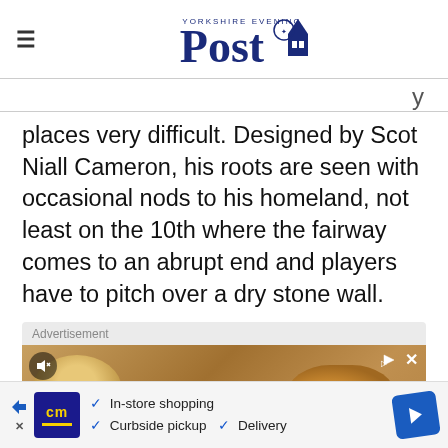Yorkshire Evening Post
places very difficult. Designed by Scot Niall Cameron, his roots are seen with occasional nods to his homeland, not least on the 10th where the fairway comes to an abrupt end and players have to pitch over a dry stone wall.
[Figure (other): Advertisement banner showing food (fried chicken and bread rolls) with a play button overlay. Label reads 'Advertisement'.]
[Figure (other): Bottom advertisement banner with CM logo, checkmarks for In-store shopping, Curbside pickup, and Delivery options, with navigation arrow icon.]